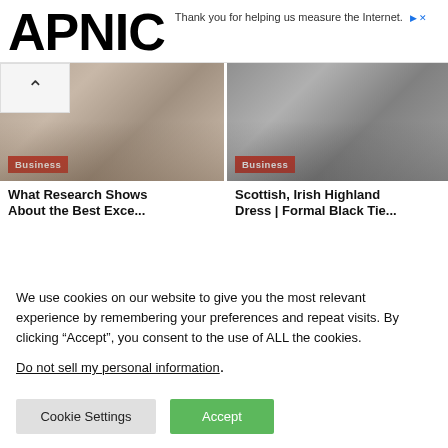APNIC — Thank you for helping us measure the Internet.
[Figure (photo): Business meeting scene — people seated around a table with a red 'Business' badge overlay]
[Figure (photo): People in Scottish/Irish Highland dress kilts with a red 'Business' badge overlay]
What Research Shows About the Best Exce...
Scottish, Irish Highland Dress | Formal Black Tie...
We use cookies on our website to give you the most relevant experience by remembering your preferences and repeat visits. By clicking “Accept”, you consent to the use of ALL the cookies.
Do not sell my personal information.
Cookie Settings   Accept